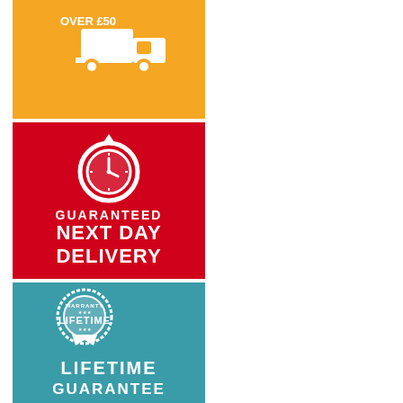[Figure (infographic): Orange badge with delivery truck icon and text OVER £50, indicating free delivery over £50]
[Figure (infographic): Red badge with clock/refresh icon and text GUARANTEED NEXT DAY DELIVERY]
[Figure (infographic): Teal badge with circular warranty seal and text LIFETIME GUARANTEE]